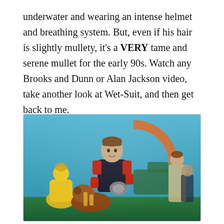underwater and wearing an intense helmet and breathing system. But, even if his hair is slightly mullety, it's a VERY tame and serene mullet for the early 90s. Watch any Brooks and Dunn or Alan Jackson video, take another look at Wet-Suit, and then get back to me.
[Figure (photo): A close-up photo of action figures, primarily showing a figure in a black and red wetsuit/diving suit holding equipment, with a yellow action figure on the left and another figure on the right, set against a teal/blue background.]